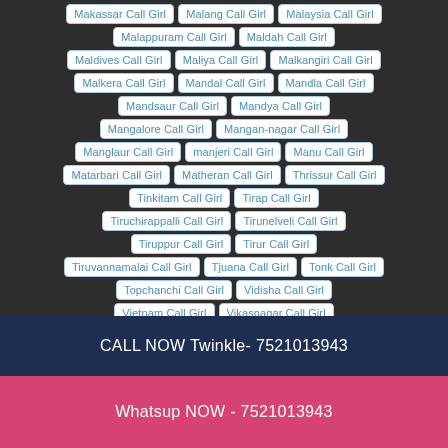Makassar Call Girl
Malang Call Girl
Malaysia Call Girl
Malappuram Call Girl
Maldah Call Girl
Maldives Call Girl
Maliya Call Girl
Malkangiri Call Girl
Malkera Call Girl
Mandal Call Girl
Mandla Call Girl
Mandsaur Call Girl
Mandya Call Girl
Mangalore Call Girl
Mangan-nagar Call Girl
Manglaur Call Girl
manjeri Call Girl
Manu Call Girl
Matarbari Call Girl
Matheran Call Girl
Thrissur Call Girl
Tinkitam Call Girl
Tirap Call Girl
Tiruchirappalli Call Girl
Tirunelveli Call Girl
Tiruppur Call Girl
Tirur Call Girl
Tiruvannamalai Call Girl
Tjuana Call Girl
Tonk Call Girl
Topchanchi Call Girl
Vidisha Call Girl
Vietnam Call Girl
Vikasnagar Call Girl
CALL NOW Twinkle- 7521013943
Whatsup NOW - 7521013943